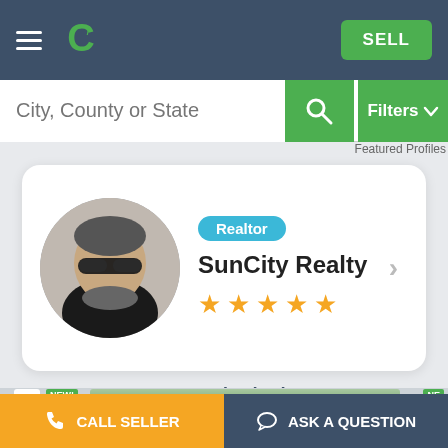[Figure (screenshot): App header with hamburger menu, green C logo, and green SELL button on dark blue background]
[Figure (screenshot): Search bar with placeholder text 'City, County or State', green search icon button, and green Filters dropdown button]
Featured Profiles
[Figure (photo): Realtor profile card for SunCity Realty with circular profile photo of a man wearing sunglasses, Realtor badge, business name, and 5 star rating]
Featured Listings
[Figure (screenshot): Listing cards strip with NEW! badges and property image]
CALL SELLER
ASK A QUESTION